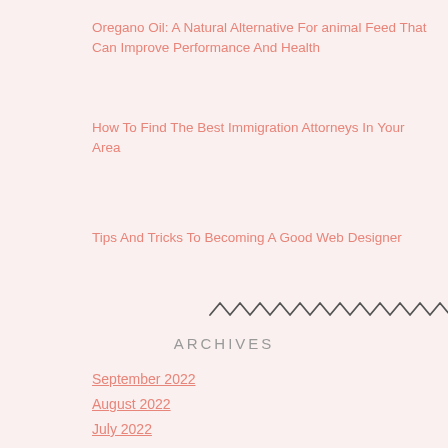Oregano Oil: A Natural Alternative For animal Feed That Can Improve Performance And Health
How To Find The Best Immigration Attorneys In Your Area
Tips And Tricks To Becoming A Good Web Designer
[Figure (illustration): Zigzag/wavy decorative divider line]
ARCHIVES
September 2022
August 2022
July 2022
June 2022
May 2022
April 2022